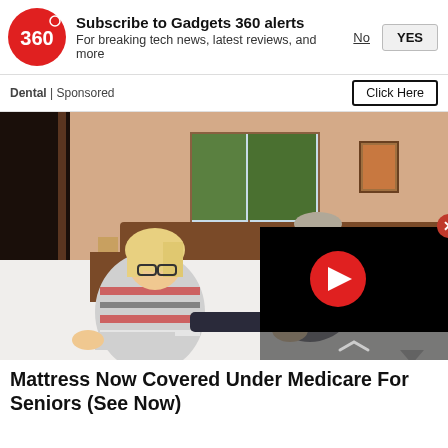[Figure (screenshot): Gadgets 360 logo - red circle with '360' text]
Subscribe to Gadgets 360 alerts
For breaking tech news, latest reviews, and more
No   YES
Dental | Sponsored
Click Here
[Figure (photo): Two people (a woman with blonde hair and glasses in a striped top, and a man in a dark polo shirt with glasses) leaning over a white bed mattress in a bedroom. A video player overlay is shown in the bottom right corner with a red play button on black background.]
Mattress Now Covered Under Medicare For Seniors (See Now)